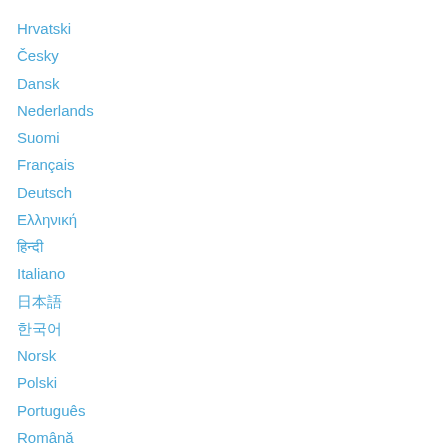Hrvatski
Česky
Dansk
Nederlands
Suomi
Français
Deutsch
Ελληνική
हिन्दी
Italiano
日本語
한국어
Norsk
Polski
Português
Română
Русский
Español
Svenska